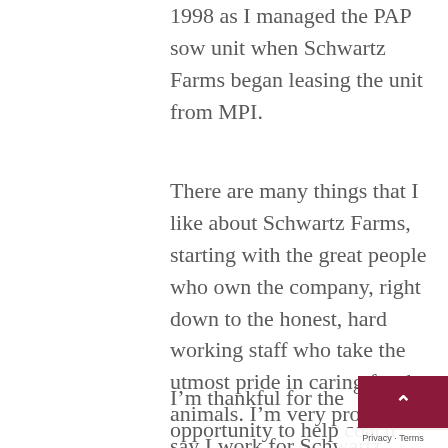1998 as I managed the PAP sow unit when Schwartz Farms began leasing the unit from MPI.
There are many things that I like about Schwartz Farms, starting with the great people who own the company, right down to the honest, hard working staff who take the utmost pride in caring for the animals. I'm very proud to say I work for Schwartz Farms.
I'm thankful for the opportunity to help coach high school softball in Mountain Lake as well as help umpire when I can and volunteer some time helping at the golf course. I try to sneak in few rounds of golf